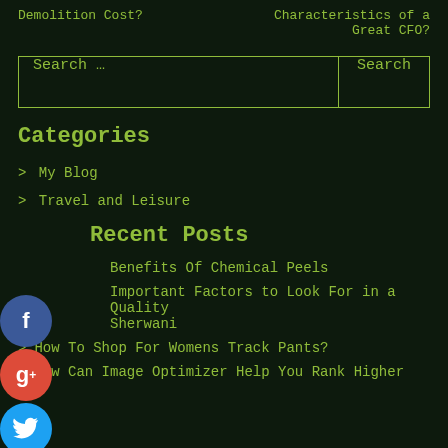Demolition Cost?
Characteristics of a Great CFO?
Search …
Categories
> My Blog
> Travel and Leisure
Recent Posts
Benefits Of Chemical Peels
Important Factors to Look For in a Quality Sherwani
> How To Shop For Womens Track Pants?
> How Can Image Optimizer Help You Rank Higher